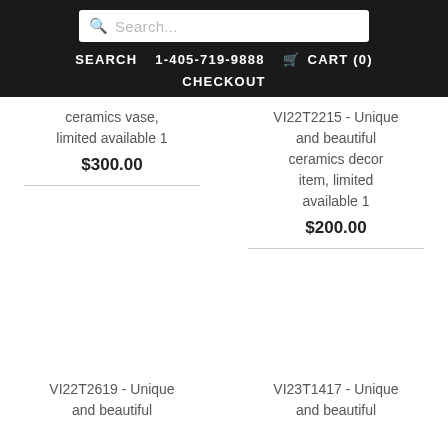Search... | SEARCH | 1-405-719-9888 | CART (0) | CHECKOUT
ceramics vase, limited available 1
$300.00
VI22T2215 - Unique and beautiful ceramics decor item, limited available 1
$200.00
VI22T2619 - Unique and beautiful
VI23T1417 - Unique and beautiful